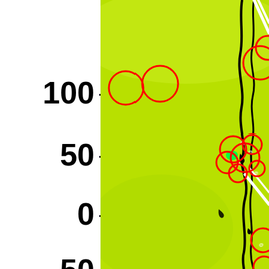[Figure (map): Scientific map/plot showing a green-yellow continuous field with red circles (data markers), black irregular lines (possibly fault lines or boundaries), white diagonal lines, and small black patches. The left side shows a y-axis with tick marks at 100, 50, 0, and -50 (partially visible). The map region is lime/yellow-green colored with annotations.]